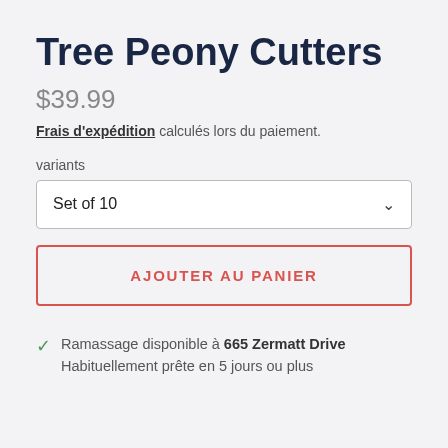Tree Peony Cutters
$39.99
Frais d'expédition calculés lors du paiement.
variants
Set of 10
AJOUTER AU PANIER
Ramassage disponible à 665 Zermatt Drive Habituellement prête en 5 jours ou plus